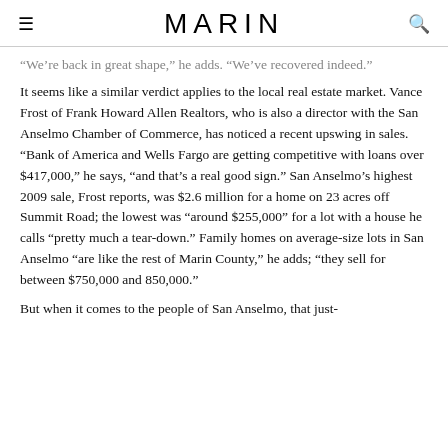MARIN
“We’re back in great shape,” he adds. “We’ve recovered indeed.”
It seems like a similar verdict applies to the local real estate market. Vance Frost of Frank Howard Allen Realtors, who is also a director with the San Anselmo Chamber of Commerce, has noticed a recent upswing in sales. “Bank of America and Wells Fargo are getting competitive with loans over $417,000,” he says, “and that’s a real good sign.” San Anselmo’s highest 2009 sale, Frost reports, was $2.6 million for a home on 23 acres off Summit Road; the lowest was “around $255,000” for a lot with a house he calls “pretty much a tear-down.” Family homes on average-size lots in San Anselmo “are like the rest of Marin County,” he adds; “they sell for between $750,000 and 850,000.”
But when it comes to the people of San Anselmo, that just-